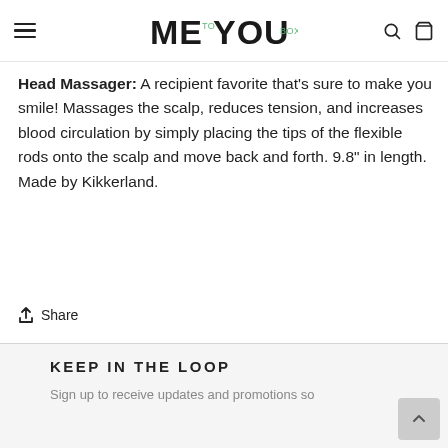ME TO YOU BOX (logo) with hamburger menu, search, and cart icons
Head Massager: A recipient favorite that's sure to make you smile! Massages the scalp, reduces tension, and increases blood circulation by simply placing the tips of the flexible rods onto the scalp and move back and forth. 9.8" in length. Made by Kikkerland.
Share
KEEP IN THE LOOP
Sign up to receive updates and promotions so